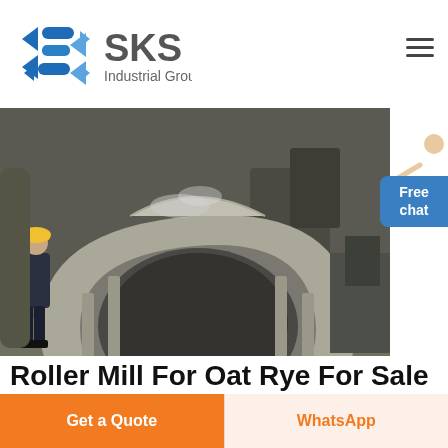[Figure (logo): SKS Industrial Group logo with blue angular 'S' icon and gray SKS text]
[Figure (photo): Factory floor photo showing a large industrial roller mill casting component (bearing housing) with a worker in yellow hard hat inspecting it]
[Figure (photo): Customer service representative overlay image with Free chat button]
Roller Mill For Oat Rye For Sale
Get a Quote
WhatsApp